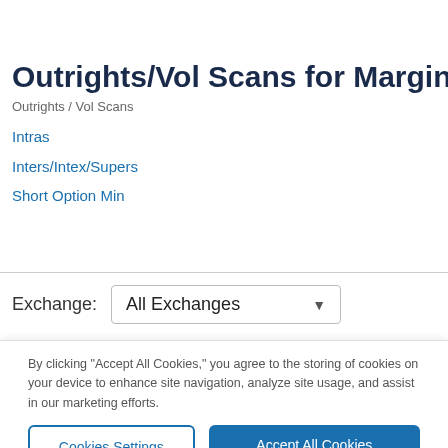Outrights/Vol Scans for Margins
Outrights / Vol Scans
Intras
Inters/Intex/Supers
Short Option Min
Exchange: All Exchanges
By clicking “Accept All Cookies,” you agree to the storing of cookies on your device to enhance site navigation, analyze site usage, and assist in our marketing efforts.
Cookies Settings | Accept All Cookies